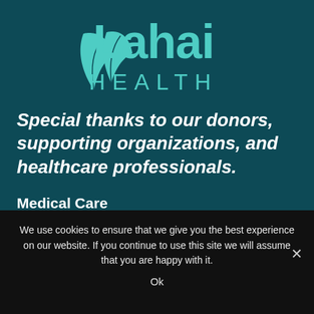[Figure (logo): Lahai Health logo with two teal leaf icons and the text 'Lahai HEALTH' in teal on a dark teal background]
Special thanks to our donors, supporting organizations, and healthcare professionals.
Medical Care
Located in King and Snohomish Counties
We use cookies to ensure that we give you the best experience on our website. If you continue to use this site we will assume that you are happy with it.
Ok